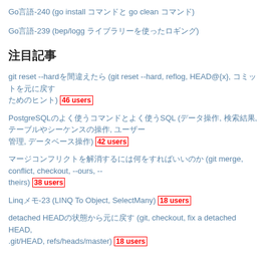Go言語-240 (go install コマンドと go clean コマンド)
Go言語-239 (bep/logg ライブラリーを使ったロギング)
注目記事
git reset --hardを間違えたら (git reset --hard, reflog, HEAD@{x}, コミットを元に戻す) 46 users
PostgreSQLのよく使うコマンドとよく使うSQL (データ操作, 検索結果, テーブルやシーケンスの操作, ユーザー管理, データベース操作) 42 users
マージコンフリクトを解消するには何をすればいいのか (git merge, conflict, checkout, --ours, --theirs) 38 users
Linqメモ-23 (LINQ To Object, SelectMany) 18 users
detached HEADの状態から元に戻す (git, checkout, fix a detached HEAD, .git/HEAD, refs/heads/master) 18 users